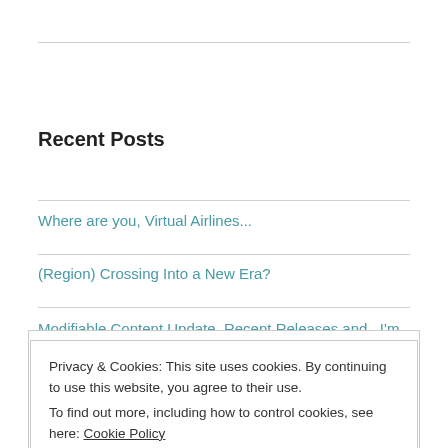Recent Posts
Where are you, Virtual Airlines...
(Region) Crossing Into a New Era?
Modifiable Content Update, Recent Releases and...I'm Back!
Non-Modifiable Content: Is the End Finally In Sight?
Privacy & Cookies: This site uses cookies. By continuing to use this website, you agree to their use.
To find out more, including how to control cookies, see here: Cookie Policy